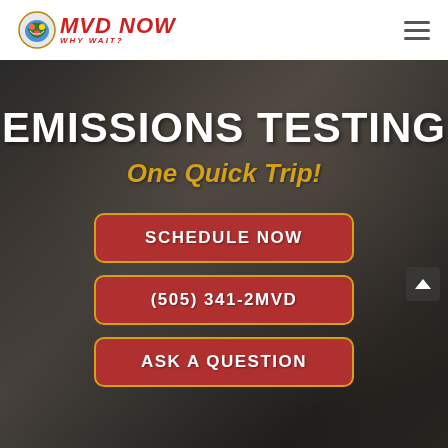MVD NOW - WHY WAIT?
EMISSIONS TESTING
One Quick Trip!
SCHEDULE NOW
(505) 341-2MVD
ASK A QUESTION